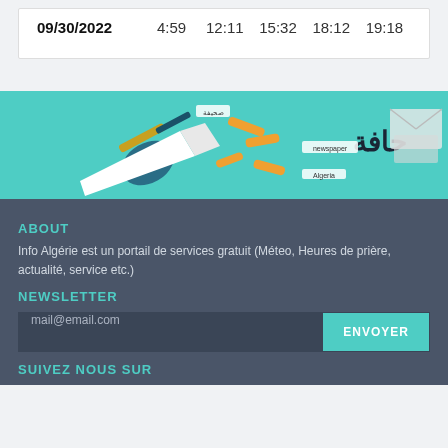| Date | T1 | T2 | T3 | T4 | T5 |
| --- | --- | --- | --- | --- | --- |
| 09/30/2022 | 4:59 | 12:11 | 15:32 | 18:12 | 19:18 |
[Figure (illustration): Banner image with a megaphone/bullhorn illustration on teal background with Arabic text and decorative orange elements]
ABOUT
Info Algérie est un portail de services gratuit (Méteo, Heures de prière, actualité, service etc.)
NEWSLETTER
mail@email.com
ENVOYER
SUIVEZ NOUS SUR